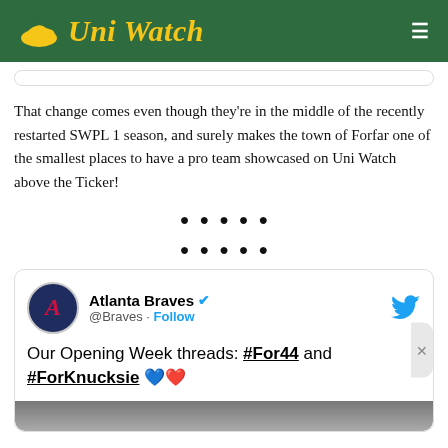Uni Watch
That change comes even though they’re in the middle of the recently restarted SWPL 1 season, and surely makes the town of Forfar one of the smallest places to have a pro team showcased on Uni Watch above the Ticker!
[Figure (other): Two rows of five decorative dots used as section dividers]
[Figure (screenshot): Embedded tweet from Atlanta Braves (@Braves) with verified badge and Follow link. Tweet text: Our Opening Week threads: #For44 and #ForKnucksie with blue heart and red heart emojis. Twitter bird icon top right. Bottom shows beginning of an image strip.]